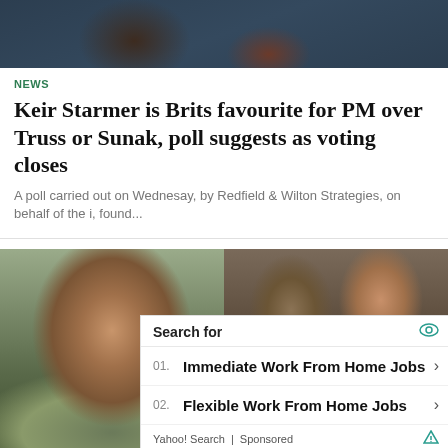[Figure (photo): Top portion of a news article photo showing two people, cropped at the top of the page]
NEWS
Keir Starmer is Brits favourite for PM over Truss or Sunak, poll suggests as voting closes
A poll carried out on Wednesay, by Redfield & Wilton Strategies, on behalf of the i, found...
[Figure (photo): Two side-by-side photos: left shows a smiling woman with red hair outdoors; right shows two people in period costume, one touching the other's face]
[Figure (infographic): Ad overlay: Search for - 01. Immediate Work From Home Jobs > 02. Flexible Work From Home Jobs > Yahoo! Search | Sponsored]